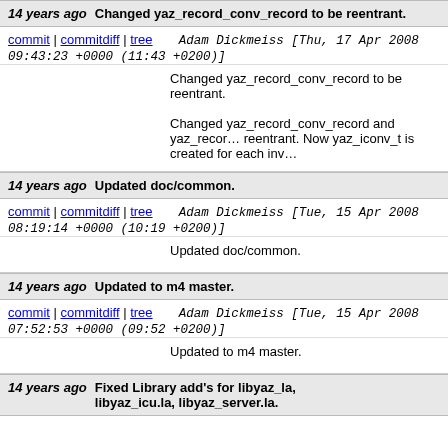14 years ago   Changed yaz_record_conv_record to be reentrant.
commit | commitdiff | tree   Adam Dickmeiss [Thu, 17 Apr 2008 09:43:23 +0000 (11:43 +0200)]
Changed yaz_record_conv_record to be reentrant.

Changed yaz_record_conv_record and yaz_reco... reentrant. Now yaz_iconv_t is created for each inv...
14 years ago   Updated doc/common.
commit | commitdiff | tree   Adam Dickmeiss [Tue, 15 Apr 2008 08:19:14 +0000 (10:19 +0200)]
Updated doc/common.
14 years ago   Updated to m4 master.
commit | commitdiff | tree   Adam Dickmeiss [Tue, 15 Apr 2008 07:52:53 +0000 (09:52 +0200)]
Updated to m4 master.
14 years ago   Fixed Library add's for libyaz_la, libyaz_icu.la, libyaz_server.la.